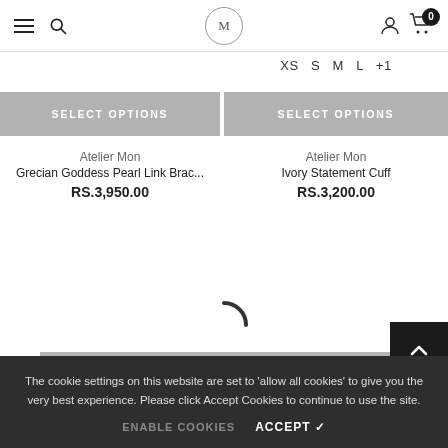Navigation bar with hamburger menu, search icon, M logo, user icon, cart with 0 items
XS  S  M  L  +1
SELECT OPTIONS
SELECT OPTIONS
Atelier Mon
Grecian Goddess Pearl Link Brac...
RS.3,950.00
Atelier Mon
Ivory Statement Cuff
RS.3,200.00
[Figure (other): Loading spinner arc]
SHOW MORE
The cookie settings on this website are set to 'allow all cookies' to give you the very best experience. Please click Accept Cookies to continue to use the site.
ENABLE COOKIES   ACCEPT ✓